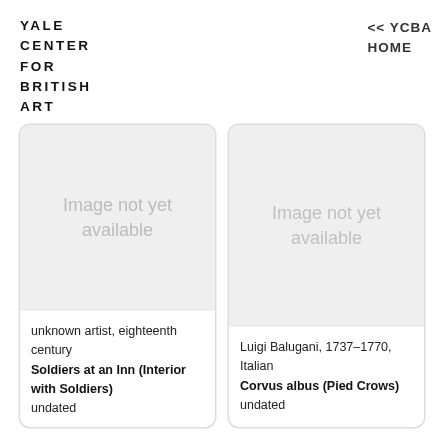YALE
CENTER
FOR
BRITISH
ART
<< YCBA HOME
[Figure (photo): Image not yet available placeholder for artwork card 1]
unknown artist, eighteenth century
Soldiers at an Inn (Interior with Soldiers)
undated
[Figure (photo): Image not yet available placeholder for artwork card 2]
Luigi Balugani, 1737–1770, Italian
Corvus albus (Pied Crows)
undated